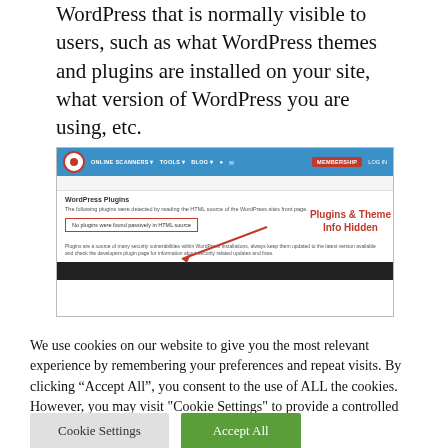WordPress that is normally visible to users, such as what WordPress themes and plugins are installed on your site, what version of WordPress you are using, etc.
[Figure (screenshot): Screenshot of a WordPress plugin scanner website showing a nav bar with ONLINE SCANNERS, TOOLS, BLOG, icons, MEMBERSHIP button and LOG IN link. Below the nav is a section titled 'WordPress Plugins' with text 'The following plugins were detected by reading the HTML source of the WordPress sites front page.' A red-bordered box states 'No plugins were found passively in HTML source' with a red arrow pointing to it and annotation 'Plugins & Theme Info Hidden'. Below is footer text about plugins being a security risk and a dark bar.]
We use cookies on our website to give you the most relevant experience by remembering your preferences and repeat visits. By clicking “Accept All”, you consent to the use of ALL the cookies. However, you may visit "Cookie Settings" to provide a controlled consent.
Cookie Settings
Accept All